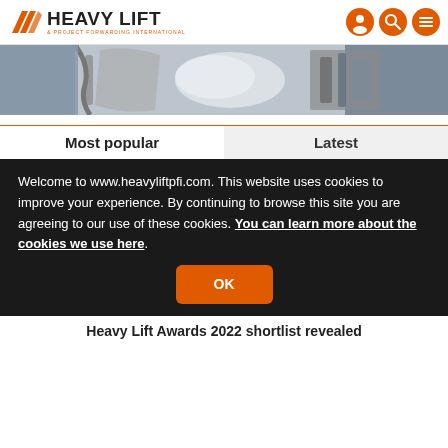HEAVY LIFT & PROJECT FORWARDING INTERNATIONAL
[Figure (photo): Partial view of an industrial or aerospace component, appears to be aircraft engine or cargo machinery, metallic, in a workshop setting]
Most popular | Latest
Welcome to www.heavyliftpfi.com. This website uses cookies to improve your experience. By continuing to browse this site you are agreeing to our use of these cookies. You can learn more about the cookies we use here.
OK
Heavy Lift Awards 2022 shortlist revealed